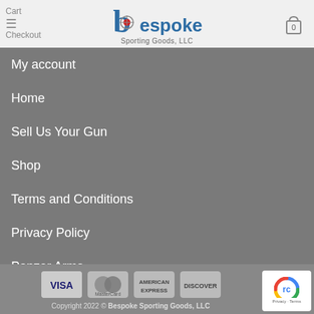Cart | Checkout — Bespoke Sporting Goods, LLC
My account
Home
Sell Us Your Gun
Shop
Terms and Conditions
Privacy Policy
Panzer Arms
Copyright 2022 © Bespoke Sporting Goods, LLC